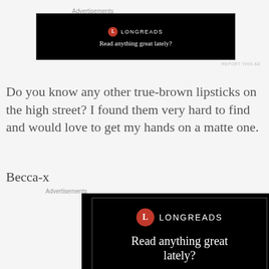Advertisements
[Figure (other): Longreads advertisement banner (black background) with logo circle 'L', brand name 'LONGREADS', tagline 'Read anything great lately?']
REPORT THIS AD
Do you know any other true-brown lipsticks on the high street? I found them very hard to find and would love to get my hands on a matte one.
Becca-x
Advertisements
[Figure (other): Longreads advertisement banner (black background, larger) with logo circle 'L', brand name 'LONGREADS', tagline 'Read anything great lately?']